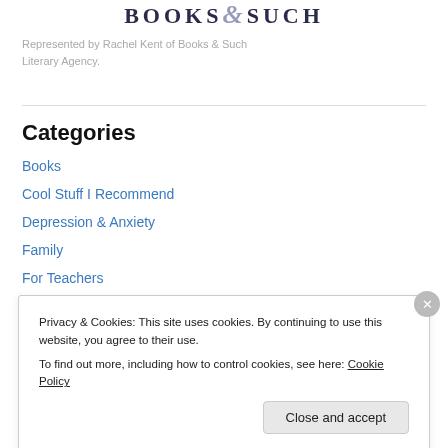[Figure (logo): Books & Such Literary Agency logo text]
Represented by Rachel Kent of Books & Such Literary Agency.
Categories
Books
Cool Stuff I Recommend
Depression & Anxiety
Family
For Teachers
Infertility
Privacy & Cookies: This site uses cookies. By continuing to use this website, you agree to their use.
To find out more, including how to control cookies, see here: Cookie Policy
Close and accept